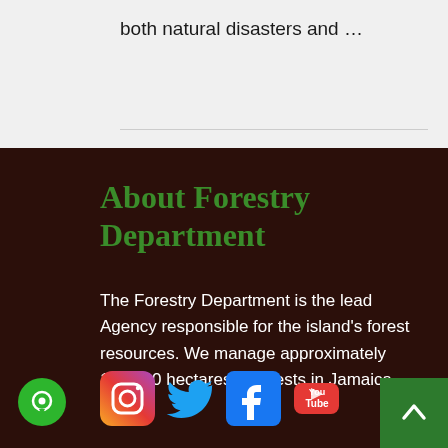both natural disasters and …
About Forestry Department
The Forestry Department is the lead Agency responsible for the island's forest resources. We manage approximately 117,000 hectares of forests in Jamaica.
[Figure (illustration): Social media icons: Instagram, Twitter, Facebook, YouTube]